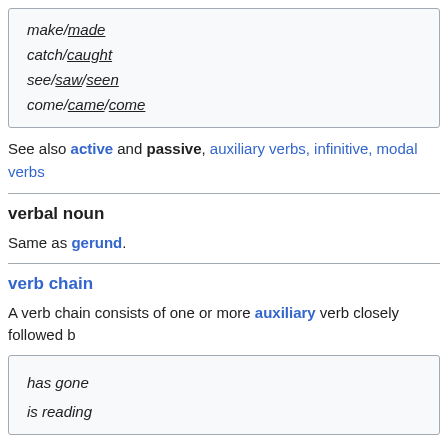make/made
catch/caught
see/saw/seen
come/came/come
See also active and passive, auxiliary verbs, infinitive, modal verbs
verbal noun
Same as gerund.
verb chain
A verb chain consists of one or more auxiliary verb closely followed b
has gone
is reading